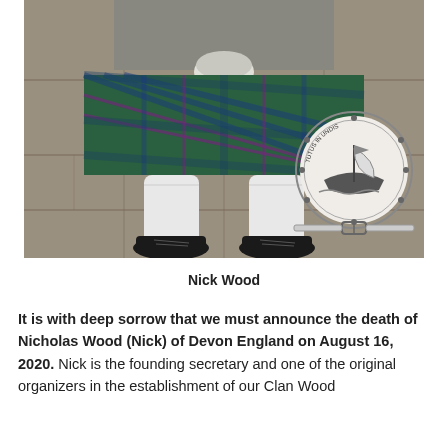[Figure (photo): A person wearing a green, blue, and purple tartan kilt with white knee-high socks and black lace-up shoes, standing on stone paving. A clan crest badge is overlaid on the lower right of the image.]
Nick Wood
It is with deep sorrow that we must announce the death of Nicholas Wood (Nick) of Devon England on August 16, 2020. Nick is the founding secretary and one of the original organizers in the establishment of our Clan Wood